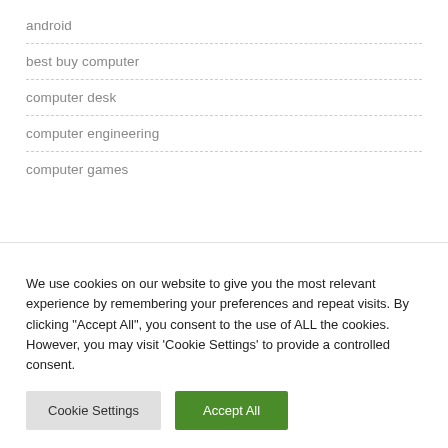android
best buy computer
computer desk
computer engineering
computer games
We use cookies on our website to give you the most relevant experience by remembering your preferences and repeat visits. By clicking "Accept All", you consent to the use of ALL the cookies. However, you may visit 'Cookie Settings' to provide a controlled consent.
Cookie Settings | Accept All